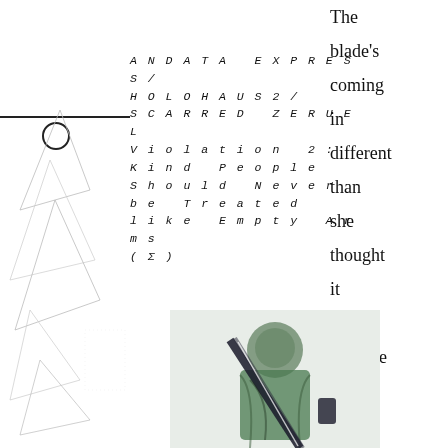[Figure (illustration): Abstract geometric line drawing with triangular shapes on left side of page]
ANDATA EXPRESS/ HOLOHAUS2/ SCARRED ZERUEL Violation 2: Kind People Should Never be Treated like Empty Arms (Σ)
The blade's coming in different than she thought it would because in
[Figure (photo): Photo of a figure in green robes holding a large blade/sword, appears to be a cosplay or artistic photo with green and black colors]